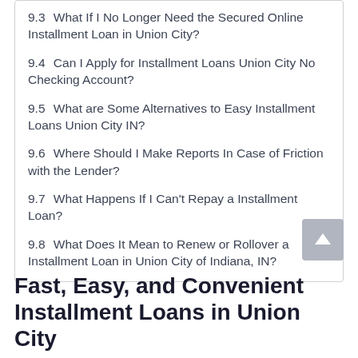9.3  What If I No Longer Need the Secured Online Installment Loan in Union City?
9.4  Can I Apply for Installment Loans Union City No Checking Account?
9.5  What are Some Alternatives to Easy Installment Loans Union City IN?
9.6  Where Should I Make Reports In Case of Friction with the Lender?
9.7  What Happens If I Can't Repay a Installment Loan?
9.8  What Does It Mean to Renew or Rollover a Installment Loan in Union City of Indiana, IN?
Fast, Easy, and Convenient Installment Loans in Union City